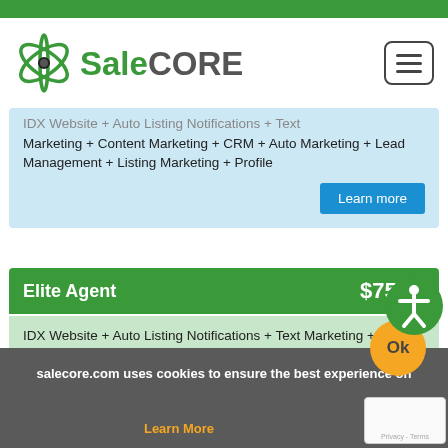SaleCORE
IDX Website + Auto Listing Notifications + Text Marketing + Content Marketing + CRM + Auto Marketing + Lead Management + Listing Marketing + Profile
Learn more
Elite Agent $75/mo
IDX Website + Auto Listing Notifications + Text Marketing + Content Marketing + CRM + Auto Marketing + Lead Management + Lead Routing + Listing Marketing + Profile
Learn more
salecore.com uses cookies to ensure the best experience on
Learn More